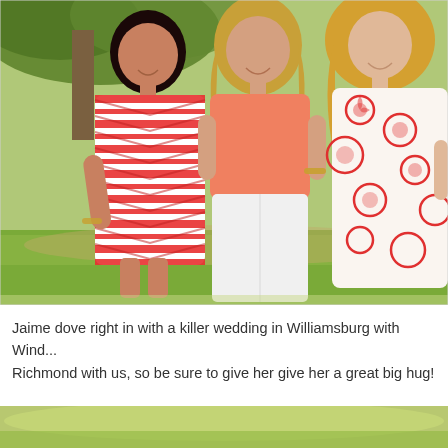[Figure (photo): Three women standing together outdoors in a park-like setting with green grass and trees. The woman on the left wears a red and white ikat/chevron patterned dress with long sleeves. The woman in the center wears a salmon/coral top with white pants. The woman on the right is partially visible wearing a red and white floral/tropical print dress. All three are smiling.]
Jaime dove right in with a killer wedding in Williamsburg with Wind... Richmond with us, so be sure to give her give her a great big hug!
[Figure (photo): Bottom portion of an outdoor photo showing green foliage and bokeh background, partially cropped.]